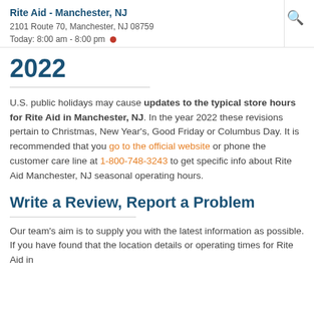Rite Aid - Manchester, NJ
2101 Route 70, Manchester, NJ 08759
Today: 8:00 am - 8:00 pm
2022
U.S. public holidays may cause updates to the typical store hours for Rite Aid in Manchester, NJ. In the year 2022 these revisions pertain to Christmas, New Year's, Good Friday or Columbus Day. It is recommended that you go to the official website or phone the customer care line at 1-800-748-3243 to get specific info about Rite Aid Manchester, NJ seasonal operating hours.
Write a Review, Report a Problem
Our team's aim is to supply you with the latest information as possible. If you have found that the location details or operating times for Rite Aid in